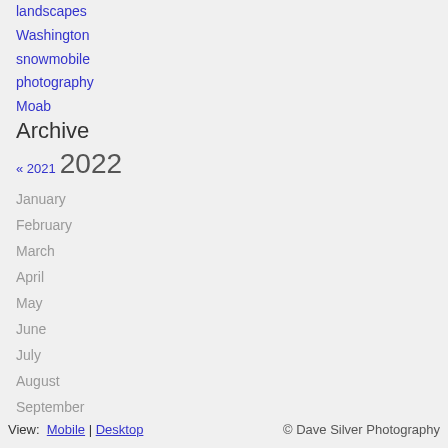landscapes
Washington
snowmobile
photography
Moab
Archive
« 2021  2022
January
February
March
April
May
June
July
August
September
View:  Mobile | Desktop    © Dave Silver Photography